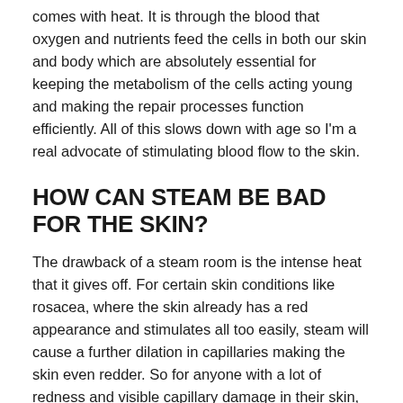comes with heat. It is through the blood that oxygen and nutrients feed the cells in both our skin and body which are absolutely essential for keeping the metabolism of the cells acting young and making the repair processes function efficiently. All of this slows down with age so I'm a real advocate of stimulating blood flow to the skin.
HOW CAN STEAM BE BAD FOR THE SKIN?
The drawback of a steam room is the intense heat that it gives off. For certain skin conditions like rosacea, where the skin already has a red appearance and stimulates all too easily, steam will cause a further dilation in capillaries making the skin even redder. So for anyone with a lot of redness and visible capillary damage in their skin, a steam room would not be recommended to use on a regular basis. But the good news is, if you do want to enjoy a steam experience, you can always hold an ice-cold washcloth on your